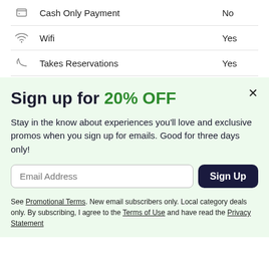Cash Only Payment — No
Wifi — Yes
Takes Reservations — Yes
Sign up for 20% OFF
Stay in the know about experiences you'll love and exclusive promos when you sign up for emails. Good for three days only!
Email Address [input] Sign Up [button]
See Promotional Terms. New email subscribers only. Local category deals only. By subscribing, I agree to the Terms of Use and have read the Privacy Statement